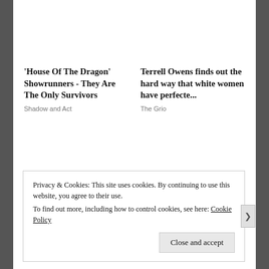'House Of The Dragon' Showrunners - They Are The Only Survivors
Shadow and Act
Terrell Owens finds out the hard way that white women have perfecte...
The Grio
Privacy & Cookies: This site uses cookies. By continuing to use this website, you agree to their use.
To find out more, including how to control cookies, see here: Cookie Policy